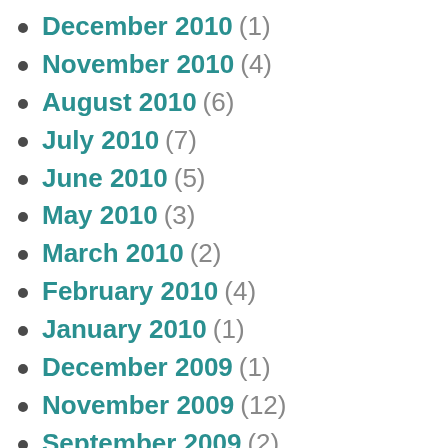December 2010 (1)
November 2010 (4)
August 2010 (6)
July 2010 (7)
June 2010 (5)
May 2010 (3)
March 2010 (2)
February 2010 (4)
January 2010 (1)
December 2009 (1)
November 2009 (12)
September 2009 (2)
August 2009 (2)
May 2009 (2)
April 2009 (?)